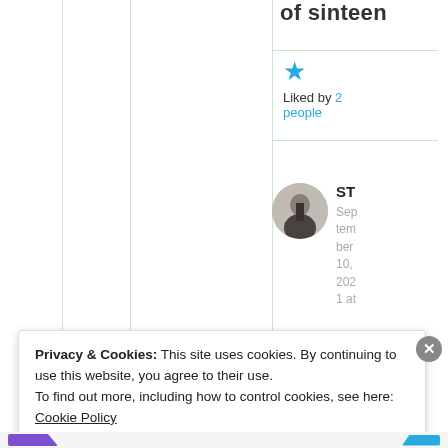of sinteen
★ Liked by 2 people
[Figure (photo): Circular avatar photo of a person, partially visible, used as commenter profile picture]
ST
September 10, 2021 at
Privacy & Cookies: This site uses cookies. By continuing to use this website, you agree to their use.
To find out more, including how to control cookies, see here: Cookie Policy
Close and accept